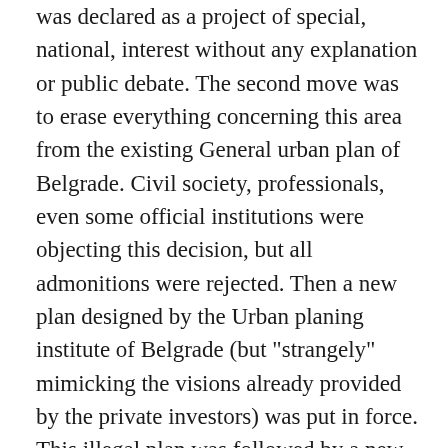was declared as a project of special, national, interest without any explanation or public debate. The second move was to erase everything concerning this area from the existing General urban plan of Belgrade. Civil society, professionals, even some official institutions were objecting this decision, but all admonitions were rejected. Then a new plan designed by the Urban planing institute of Belgrade (but "strangely" mimicking the visions already provided by the private investors) was put in force. This illegal plan was followed by a new special law (Lex specialis) which allowed the state to expropriate private land for residential and commercial developments, overriding not only the basic law on expropriation but also the Serbian Constitution. For the first time it is acceptable that